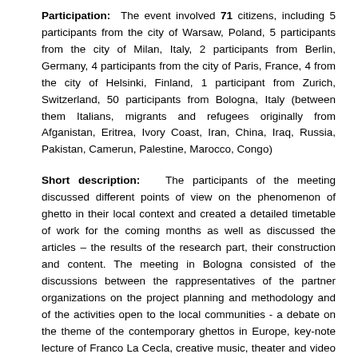Participation: The event involved 71 citizens, including 5 participants from the city of Warsaw, Poland, 5 participants from the city of Milan, Italy, 2 participants from Berlin, Germany, 4 participants from the city of Paris, France, 4 from the city of Helsinki, Finland, 1 participant from Zurich, Switzerland, 50 participants from Bologna, Italy (between them Italians, migrants and refugees originally from Afganistan, Eritrea, Ivory Coast, Iran, China, Iraq, Russia, Pakistan, Camerun, Palestine, Marocco, Congo)
Short description: The participants of the meeting discussed different points of view on the phenomenon of ghetto in their local context and created a detailed timetable of work for the coming months as well as discussed the articles – the results of the research part, their construction and content. The meeting in Bologna consisted of the discussions between the rappresentatives of the partner organizations on the project planning and methodology and of the activities open to the local communities - a debate on the theme of the contemporary ghettos in Europe, key-note lecture of Franco La Cecla, creative music, theater and video workshops and of the interactive installation...